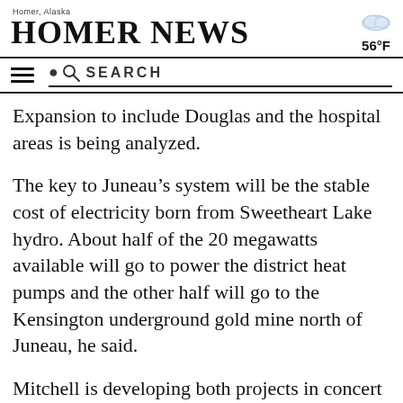Homer News — Homer, Alaska — 56°F
Expansion to include Douglas and the hospital areas is being analyzed.
The key to Juneau's system will be the stable cost of electricity born from Sweetheart Lake hydro. About half of the 20 megawatts available will go to power the district heat pumps and the other half will go to the Kensington underground gold mine north of Juneau, he said.
Mitchell is developing both projects in concert with hopes of having everything complete in 2018, he said.
[Figure (illustration): Accessibility button icon — blue circle with white wheelchair/person symbol]
Pending for the project should be announced…